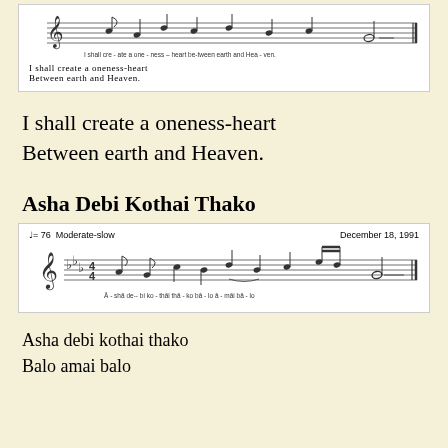[Figure (other): Sheet music snippet showing melody line with lyrics: 'I shall cre-ate a one-ness - heart be-tween earth and Hea-ven.' with translation below: 'I shall create a oneness-heart / Between earth and Heaven.']
I shall create a oneness-heart
Between earth and Heaven.
Asha Debi Kothai Thako
[Figure (other): Sheet music for 'Asha Debi Kothai Thako', tempo marking: quarter note = 76 Moderate-slow, dated December 18, 1991. Lyrics below staff: Ā-shā de--bi ko-thāi thā-ko bā-lo ā-māi bā-lo]
Asha debi kothai thako
Balo amai balo